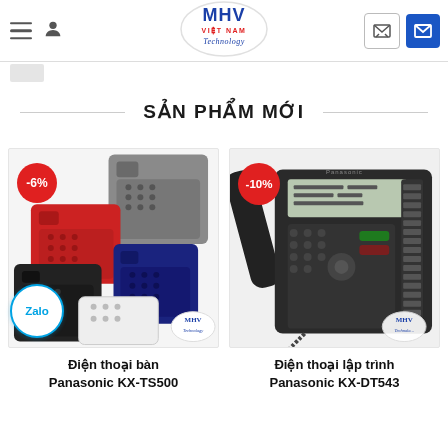MHV Việt Nam Technology - navigation header
SẢN PHẨM MỚI
[Figure (photo): Product card: multiple Panasonic KX-TS500 desk phones in various colors (red, gray, black, navy, white) with -6% discount badge]
Điện thoại bàn Panasonic KX-TS500
[Figure (photo): Product card: Panasonic KX-DT543 programmable phone in black with -10% discount badge and MHV Technology logo watermark]
Điện thoại lập trình Panasonic KX-DT543